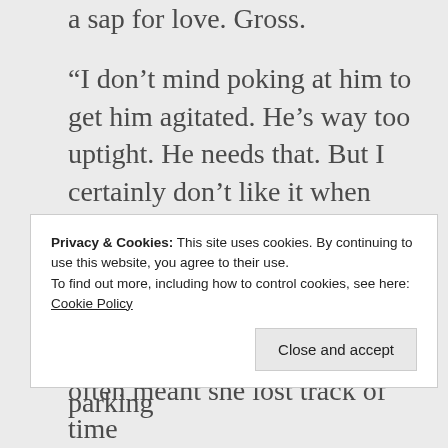a sap for love. Gross.
“I don’t mind poking at him to get him agitated. He’s way too uptight. He needs that. But I certainly don’t like it when something is hurting him. But I can’t kill it until I know just what it is.”
“Very true. Pull into that parking
Privacy & Cookies: This site uses cookies. By continuing to use this website, you agree to their use.
To find out more, including how to control cookies, see here: Cookie Policy
often meant she lost track of time